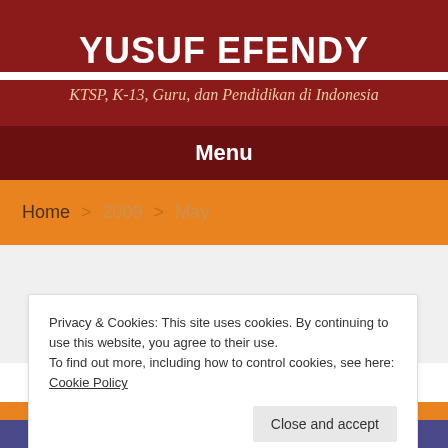YUSUF EFENDY
KTSP, K-13, Guru, dan Pendidikan di Indonesia
Menu
Home > 2009 > May
Privacy & Cookies: This site uses cookies. By continuing to use this website, you agree to their use.
To find out more, including how to control cookies, see here: Cookie Policy
Close and accept
Follow